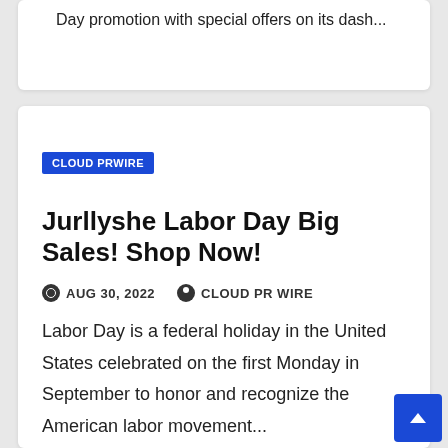Day promotion with special offers on its dash...
CLOUD PRWIRE
Jurllyshe Labor Day Big Sales! Shop Now!
AUG 30, 2022   CLOUD PR WIRE
Labor Day is a federal holiday in the United States celebrated on the first Monday in September to honor and recognize the American labor movement...